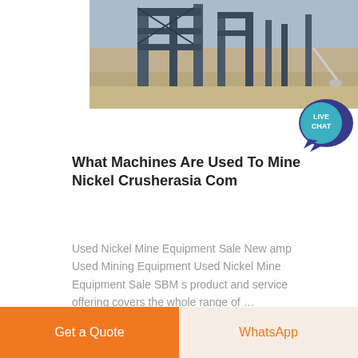[Figure (photo): Mining machinery / equipment on a construction or mine site, steel frame structures visible]
[Figure (illustration): Live Chat speech bubble icon in teal/blue with text LIVE CHAT]
What Machines Are Used To Mine Nickel Crusherasia Com
Used Nickel Mine Equipment Sale New amp Used Mining Equipment Used Nickel Mine Equipment Sale SBM s product and service offering covers the whole range of …
[Figure (map): Map placeholder with light beige background and a small location marker]
Get a Quote
WhatsApp